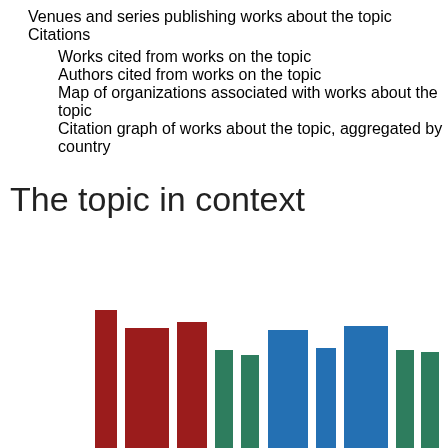Venues and series publishing works about the topic
Citations
Works cited from works on the topic
Authors cited from works on the topic
Map of organizations associated with works about the topic
Citation graph of works about the topic, aggregated by country
The topic in context
[Figure (bar-chart): Partial bar chart visible at bottom of page showing grouped colored bars in dark red, green, and blue]